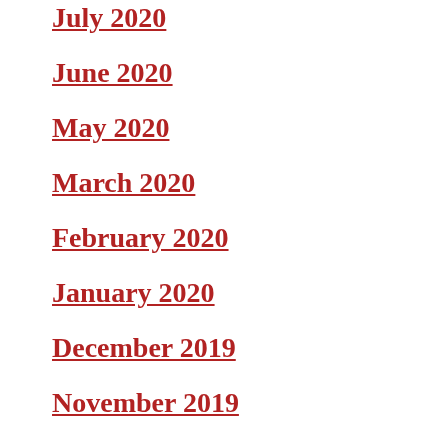July 2020
June 2020
May 2020
March 2020
February 2020
January 2020
December 2019
November 2019
October 2019
September 2019
August 2019
July 2019
June 2019